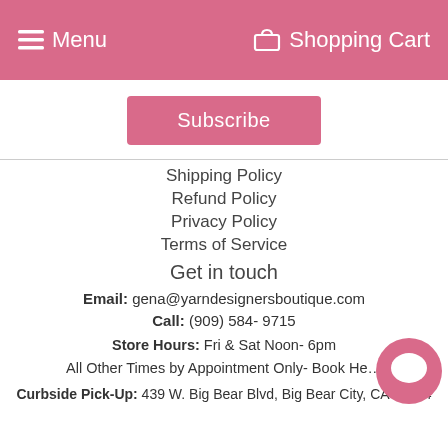Menu  Shopping Cart
Subscribe
Shipping Policy
Refund Policy
Privacy Policy
Terms of Service
Get in touch
Email: gena@yarndesignersboutique.com
Call: (909) 584- 9715
Store Hours: Fri & Sat Noon- 6pm
All Other Times by Appointment Only- Book He...
Curbside Pick-Up: 439 W. Big Bear Blvd, Big Bear City, CA 92314